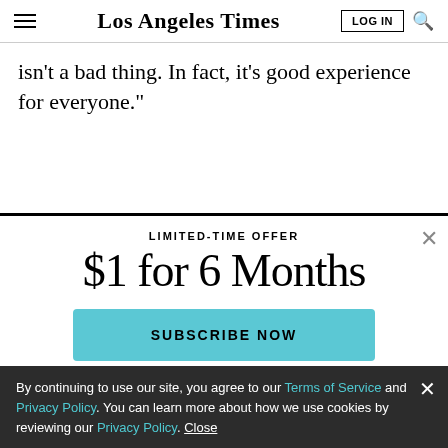Los Angeles Times
isn’t a bad thing. In fact, it’s good experience for everyone.”
LIMITED-TIME OFFER
$1 for 6 Months
SUBSCRIBE NOW
By continuing to use our site, you agree to our Terms of Service and Privacy Policy. You can learn more about how we use cookies by reviewing our Privacy Policy. Close